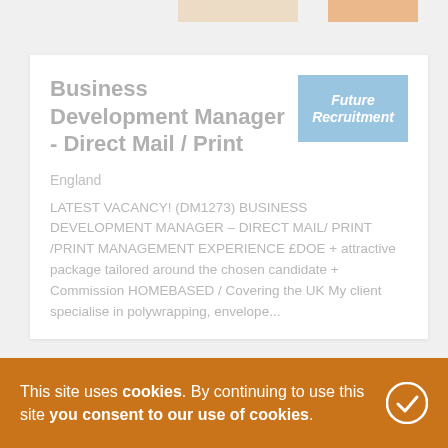Business Development Manager - Direct Mail / Print
England
LATEST VACANCY! (DM1273) BUSINESS DEVELOPMENT MANAGER - DIRECT MAIL/ PRINT /PRINT MANAGEMENT EXPERIENCE £DOE + attractive package tailored around the chosen candidate + Commission HOMEBASED / Covering the UK My client specialise in polywrapping, envelope...
This site uses cookies. By continuing to use this site you consent to our use of cookies.